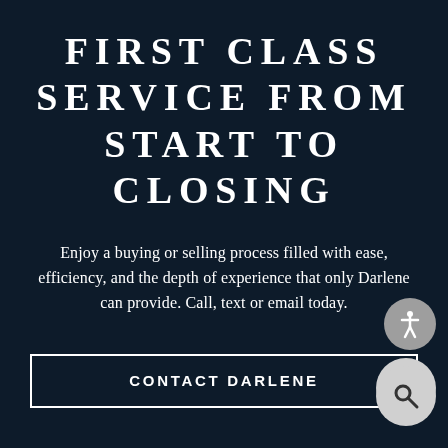FIRST CLASS SERVICE FROM START TO CLOSING
Enjoy a buying or selling process filled with ease, efficiency, and the depth of experience that only Darlene can provide. Call, text or email today.
CONTACT DARLENE